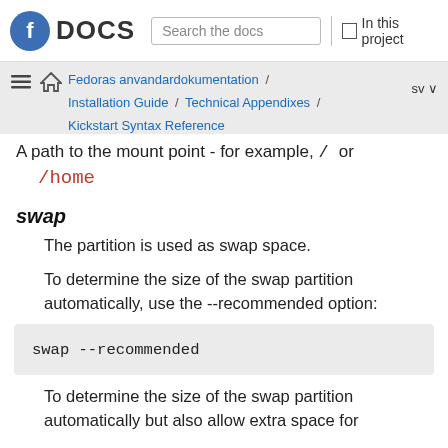Fedora DOCS | Search the docs | In this project
Fedoras anvandardokumentation / Installation Guide / Technical Appendixes / Kickstart Syntax Reference | sv
A path to the mount point - for example, / or /home
swap
The partition is used as swap space.
To determine the size of the swap partition automatically, use the --recommended option:
swap --recommended
To determine the size of the swap partition automatically but also allow extra space for